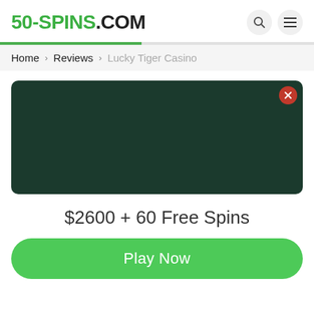50-SPINS.COM
Home › Reviews › Lucky Tiger Casino
[Figure (screenshot): Dark green casino banner/image box with a red close (X) button in the top-right corner]
$2600 + 60 Free Spins
Play Now